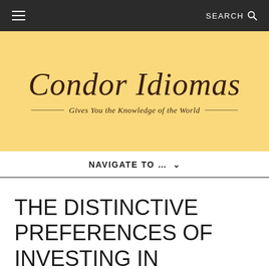≡   SEARCH 🔍
[Figure (logo): Condor Idiomas logo on yellow/cream background with tagline 'Gives You the Knowledge of the World']
NAVIGATE TO … ∨
THE DISTINCTIVE PREFERENCES OF INVESTING IN CRYPTO TRADING